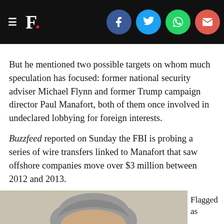F. [with social share icons: Facebook, Twitter, WhatsApp, Email]
But he mentioned two possible targets on whom much speculation has focused: former national security adviser Michael Flynn and former Trump campaign director Paul Manafort, both of them once involved in undeclared lobbying for foreign interests.
Buzzfeed reported on Sunday the FBI is probing a series of wire transfers linked to Manafort that saw offshore companies move over $3 million between 2012 and 2013.
[Figure (photo): Photo of a grey-haired man (Robert Mueller) in a suit, looking slightly upward, shot from chest up against a light background.]
Flagged as